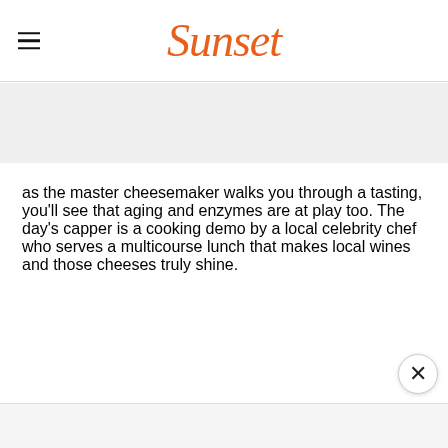Sunset
as the master cheesemaker walks you through a tasting, you'll see that aging and enzymes are at play too. The day's capper is a cooking demo by a local celebrity chef who serves a multicourse lunch that makes local wines and those cheeses truly shine.